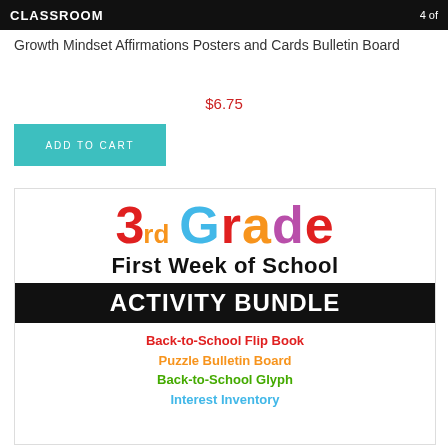[Figure (screenshot): Top dark banner with CLASSROOM text and rating]
Growth Mindset Affirmations Posters and Cards Bulletin Board
$6.75
ADD TO CART
[Figure (illustration): 3rd Grade First Week of School Activity Bundle product image with colorful lettering, black strip reading ACTIVITY BUNDLE, and list: Back-to-School Flip Book, Puzzle Bulletin Board, Back-to-School Glyph, Interest Inventory]